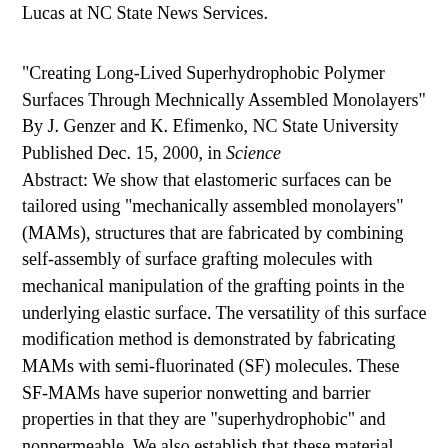Lucas at NC State News Services.
"Creating Long-Lived Superhydrophobic Polymer Surfaces Through Mechnically Assembled Monolayers"
By J. Genzer and K. Efimenko, NC State University
Published Dec. 15, 2000, in Science
Abstract: We show that elastomeric surfaces can be tailored using "mechanically assembled monolayers" (MAMs), structures that are fabricated by combining self-assembly of surface grafting molecules with mechanical manipulation of the grafting points in the underlying elastic surface. The versatility of this surface modification method is demonstrated by fabricating MAMs with semi-fluorinated (SF) molecules. These SF-MAMs have superior nonwetting and barrier properties in that they are "superhydrophobic" and nonpermeable. We also establish that these material characteristics do not deteriorate even after prolonged exposure to water, which usually causes surface